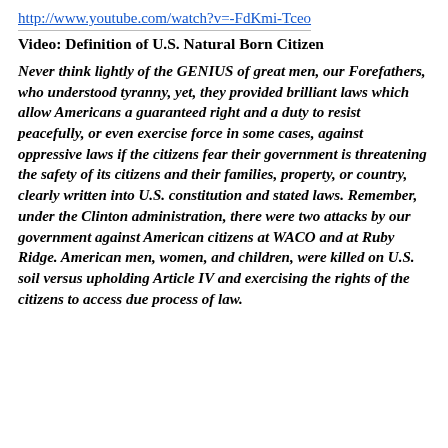http://www.youtube.com/watch?v=-FdKmi-Tceo
Video: Definition of U.S. Natural Born Citizen
Never think lightly of the GENIUS of great men, our Forefathers, who understood tyranny, yet, they provided brilliant laws which allow Americans a guaranteed right and a duty to resist peacefully, or even exercise force in some cases, against oppressive laws if the citizens fear their government is threatening the safety of its citizens and their families, property, or country, clearly written into U.S. constitution and stated laws. Remember, under the Clinton administration, there were two attacks by our government against American citizens at WACO and at Ruby Ridge. American men, women, and children, were killed on U.S. soil versus upholding Article IV and exercising the rights of the citizens to access due process of law.